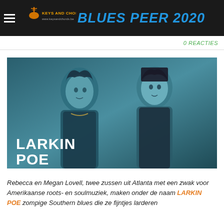BLUES PEER 2020
0 REACTIES
[Figure (photo): Photo of two women, Rebecca and Megan Lovell, styled in blue-tinted monochrome. Text overlay reads LARKIN POE in large white bold letters at bottom left.]
Rebecca en Megan Lovell,  twee zussen uit Atlanta met een zwak voor Amerikaanse roots- en soulmuziek, maken onder de naam LARKIN POE zompige Southern blues die ze fijntjes larderen